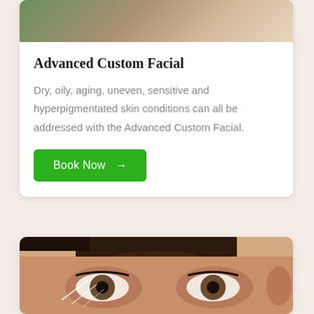[Figure (photo): Photo of a person receiving a facial treatment with green leaves and white towels visible]
Advanced Custom Facial
Dry, oily, aging, uneven, sensitive and hyperpigmentated skin conditions can all be addressed with the Advanced Custom Facial.
Book Now →
[Figure (photo): Close-up photo of a woman's face showing eye area with light streaks, associated with an eye treatment or anti-aging service]